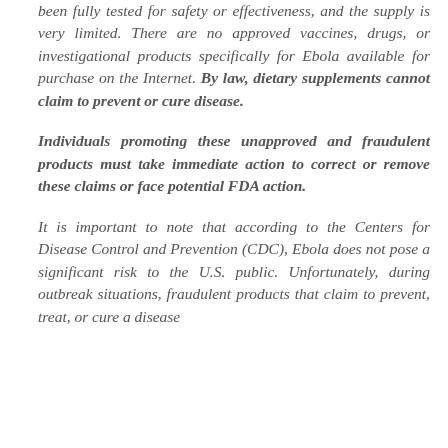been fully tested for safety or effectiveness, and the supply is very limited. There are no approved vaccines, drugs, or investigational products specifically for Ebola available for purchase on the Internet. By law, dietary supplements cannot claim to prevent or cure disease.
Individuals promoting these unapproved and fraudulent products must take immediate action to correct or remove these claims or face potential FDA action.
It is important to note that according to the Centers for Disease Control and Prevention (CDC), Ebola does not pose a significant risk to the U.S. public. Unfortunately, during outbreak situations, fraudulent products that claim to prevent, treat, or cure a disease